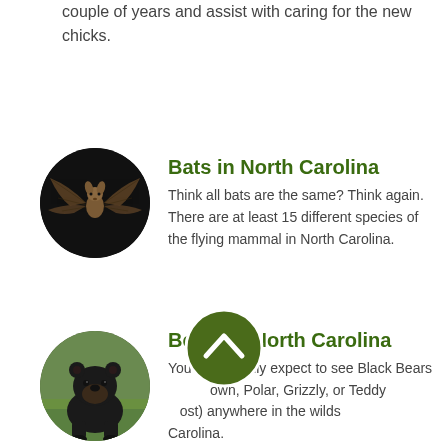couple of years and assist with caring for the new chicks.
[Figure (photo): Close-up circular photo of a bat with wings spread against a dark background]
Bats in North Carolina
Think all bats are the same? Think again. There are at least 15 different species of the flying mammal in North Carolina.
[Figure (photo): Circular photo of a black bear standing on grass]
Bears in North Carolina
You should only expect to see Black Bears (not Brown, Polar, Grizzly, or Teddy bears... most) anywhere in the wilds of North Carolina.
[Figure (other): Dark olive green circular scroll-to-top button with an upward chevron arrow icon]